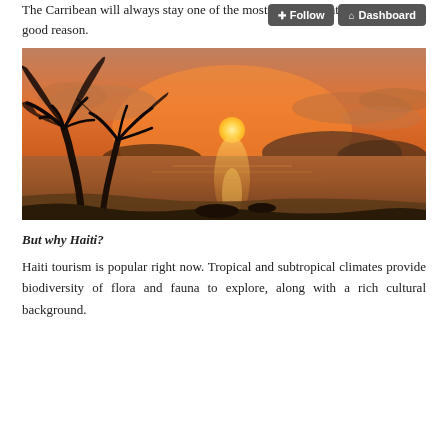The Carribean will always stay one of the most popular locations, and for a good reason.
[Figure (photo): Tropical Caribbean sunset beach scene with silhouetted palm trees in the foreground and calm ocean water reflecting golden orange sunlight, mountains visible on the horizon under a dramatic sky.]
But why Haiti?
Haiti tourism is popular right now. Tropical and subtropical climates provide biodiversity of flora and fauna to explore, along with a rich cultural background.